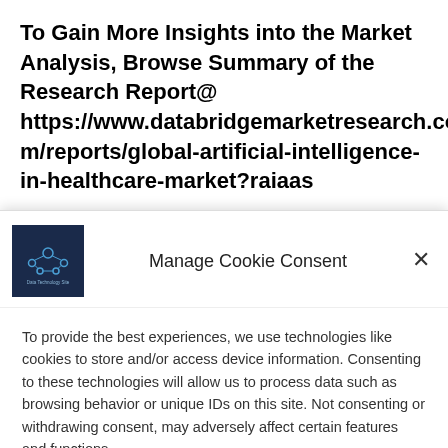To Gain More Insights into the Market Analysis, Browse Summary of the Research Report@ https://www.databridgemarketresearch.com/reports/global-artificial-intelligence-in-healthcare-market?raiaas
[Figure (logo): Dark navy blue square logo with circuit/network icon and small text 'Data Technology Site']
Manage Cookie Consent
To provide the best experiences, we use technologies like cookies to store and/or access device information. Consenting to these technologies will allow us to process data such as browsing behavior or unique IDs on this site. Not consenting or withdrawing consent, may adversely affect certain features and functions.
Accept